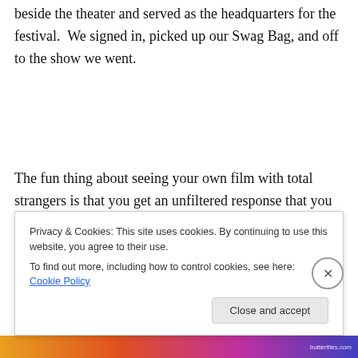beside the theater and served as the headquarters for the festival.  We signed in, picked up our Swag Bag, and off to the show we went.
The fun thing about seeing your own film with total strangers is that you get an unfiltered response that you wouldn't get from friends or family.  'To Do List' is a comedy, so for me it's important to know if people actually
Privacy & Cookies: This site uses cookies. By continuing to use this website, you agree to their use.
To find out more, including how to control cookies, see here: Cookie Policy